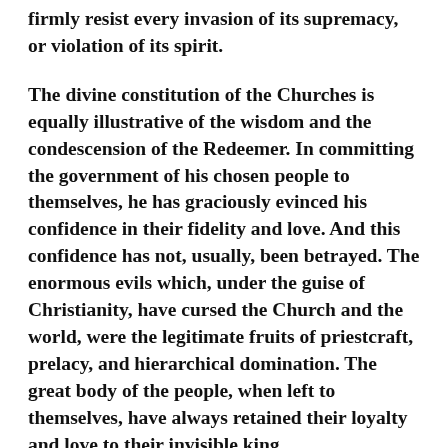firmly resist every invasion of its supremacy, or violation of its spirit.
The divine constitution of the Churches is equally illustrative of the wisdom and the condescension of the Redeemer. In committing the government of his chosen people to themselves, he has graciously evinced his confidence in their fidelity and love. And this confidence has not, usually, been betrayed. The enormous evils which, under the guise of Christianity, have cursed the Church and the world, were the legitimate fruits of priestcraft, prelacy, and hierarchical domination. The great body of the people, when left to themselves, have always retained their loyalty and love to their invisible king.
1. Every Christian Church possesses the right of